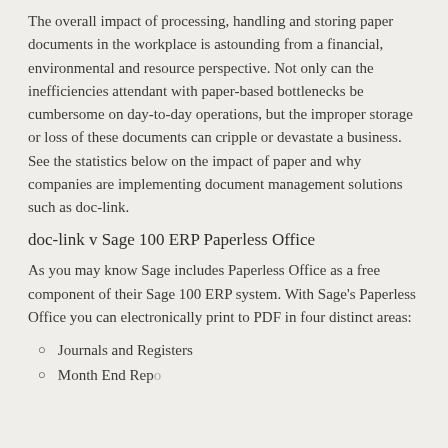The overall impact of processing, handling and storing paper documents in the workplace is astounding from a financial, environmental and resource perspective. Not only can the inefficiencies attendant with paper-based bottlenecks be cumbersome on day-to-day operations, but the improper storage or loss of these documents can cripple or devastate a business. See the statistics below on the impact of paper and why companies are implementing document management solutions such as doc-link.
doc-link v Sage 100 ERP Paperless Office
As you may know Sage includes Paperless Office as a free component of their Sage 100 ERP system. With Sage's Paperless Office you can electronically print to PDF in four distinct areas:
Journals and Registers
Month End Reports